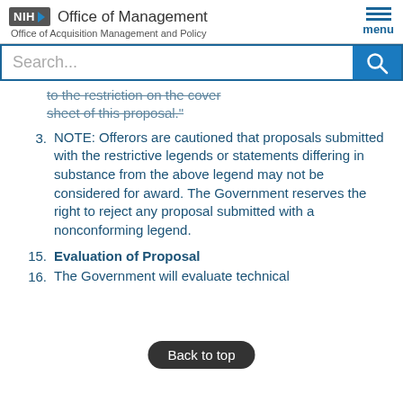NIH Office of Management | Office of Acquisition Management and Policy | menu
to the restriction on the cover sheet of this proposal."
3. NOTE: Offerors are cautioned that proposals submitted with the restrictive legends or statements differing in substance from the above legend may not be considered for award. The Government reserves the right to reject any proposal submitted with a nonconforming legend.
15. Evaluation of Proposal
16. The Government will evaluate technical